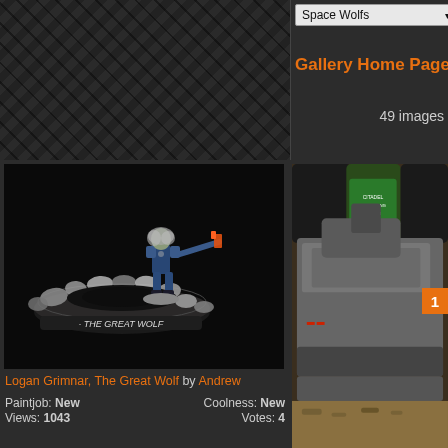Space Wolfs ▾
Gallery Home Page
49 images
1
[Figure (photo): Painted Warhammer 40K miniature of Logan Grimnar with The Great Wolf display base, painted in Space Wolves colors]
Logan Grimnar, The Great Wolf by Andrew
Paintjob: New    Coolness: New
Views: 1043    Votes: 4
[Figure (photo): Partially visible Warhammer 40K Space Wolves tank/vehicle miniature with paint pots in background]